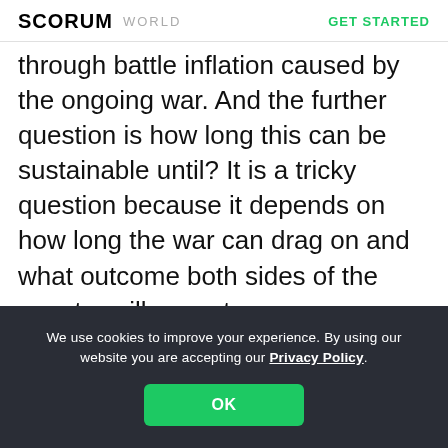SCORUM   WORLD   GET STARTED
through battle inflation caused by the ongoing war. And the further question is how long this can be sustainable until? It is a tricky question because it depends on how long the war can drag on and what outcome both sides of the country will accept.
We use cookies to improve your experience. By using our website you are accepting our Privacy Policy.
OK